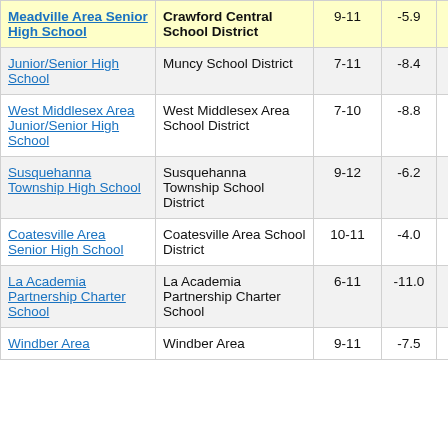| School | District | Grades | Value1 | Value2 |
| --- | --- | --- | --- | --- |
| Meadville Area Senior High School | Crawford Central School District | 9-11 | -5.9 |  |
| Junior/Senior High School | Muncy School District | 7-11 | -8.4 |  |
| West Middlesex Area Junior/Senior High School | West Middlesex Area School District | 7-10 | -8.8 |  |
| Susquehanna Township High School | Susquehanna Township School District | 9-12 | -6.2 |  |
| Coatesville Area Senior High School | Coatesville Area School District | 10-11 | -4.0 |  |
| La Academia Partnership Charter School | La Academia Partnership Charter School | 6-11 | -11.0 |  |
| Windber Area | Windber Area | 9-11 | -7.5 |  |